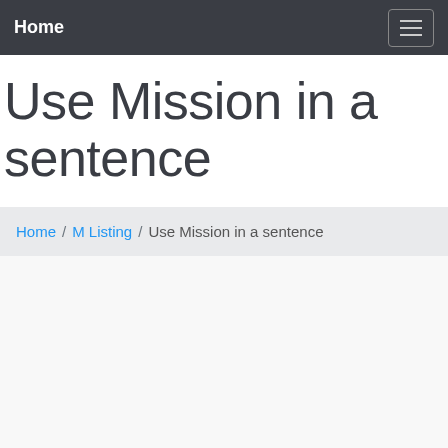Home
Use Mission in a sentence
Home / M Listing / Use Mission in a sentence